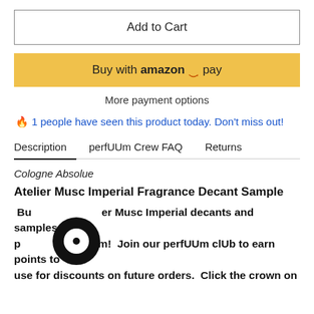Add to Cart
[Figure (other): Buy with amazon pay button (yellow/gold background)]
More payment options
🔥 1 people have seen this product today. Don't miss out!
Description | perfUUm Crew FAQ | Returns (tab navigation, Description active)
Cologne Absolue
Atelier Musc Imperial Fragrance Decant Sample
Buy Atelier Musc Imperial decants and samples at perfUUm.com!  Join our perfUUm clUb to earn points to use for discounts on future orders.  Click the crown on